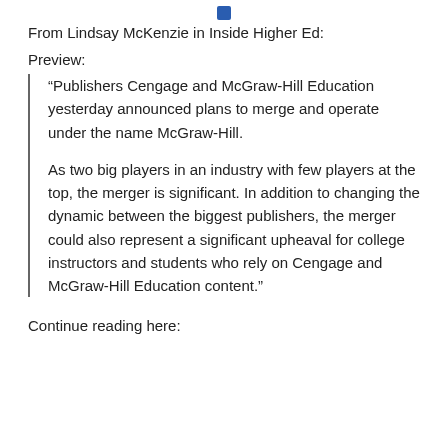From Lindsay McKenzie in Inside Higher Ed:
Preview:
“Publishers Cengage and McGraw-Hill Education yesterday announced plans to merge and operate under the name McGraw-Hill.

As two big players in an industry with few players at the top, the merger is significant. In addition to changing the dynamic between the biggest publishers, the merger could also represent a significant upheaval for college instructors and students who rely on Cengage and McGraw-Hill Education content.”
Continue reading here: